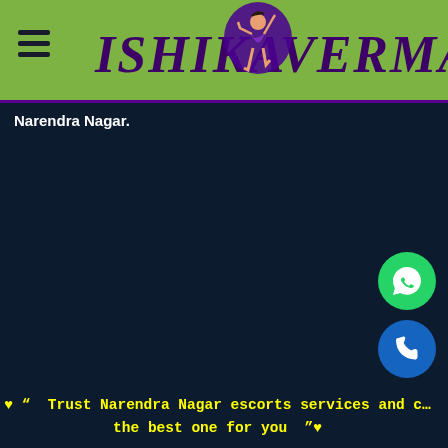ISHIKA VERMA
Narendra Nagar.
[Figure (logo): Ishika Verma website logo with stylized text and dancing figure illustration on green header background]
Trust Narendra Nagar escorts services and choose the best one for you